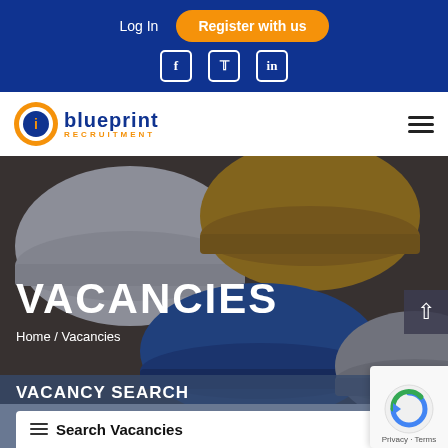Log In | Register with us
[Figure (logo): Blueprint Recruitment logo with orange circle and blue text]
[Figure (photo): Construction hard hats (white, yellow, blue, grey) hanging on a wall, with dark overlay]
VACANCIES
Home / Vacancies
VACANCY SEARCH
Search Vacancies